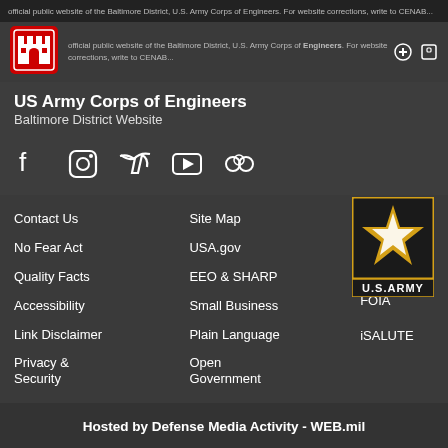official public website of the Baltimore District, U.S. Army Corps of Engineers. For website corrections, write to CENAB...
US Army Corps of Engineers
Baltimore District Website
[Figure (logo): US Army Corps of Engineers castle logo (red square with white castle)]
[Figure (logo): Social media icons: Facebook, Instagram, Twitter, YouTube, Flickr]
[Figure (logo): U.S. Army star logo with gold border and U.S.ARMY text]
Contact Us
Site Map
No Fear Act
USA.gov
Quality Facts
EEO & SHARP
RSS
Accessibility
Small Business
IG
Link Disclaimer
Plain Language
FOIA
Privacy & Security
Open Government
iSALUTE
Hosted by Defense Media Activity - WEB.mil
[Figure (logo): Gray shield/crest logo at bottom]